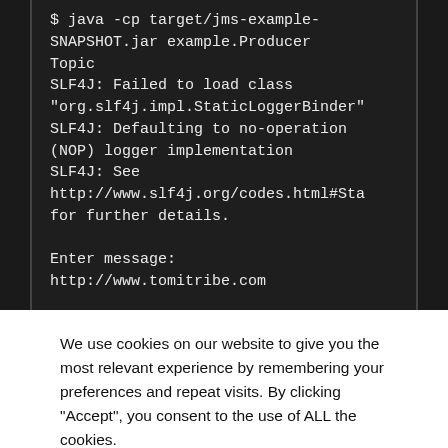[Figure (screenshot): Terminal/console output showing a Java command execution with SLF4J warnings and an 'Enter message:' prompt with URL output.]
We use cookies on our website to give you the most relevant experience by remembering your preferences and repeat visits. By clicking "Accept", you consent to the use of ALL the cookies.
Do not sell my personal information.